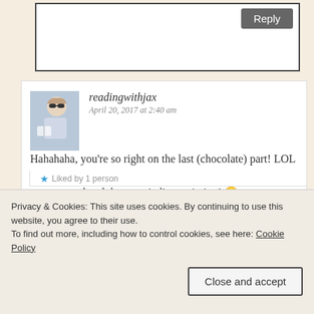[Figure (screenshot): Reply button in dark gray on a white text input box area]
readingwithjax
April 20, 2017 at 2:40 am

Hahahaha, you're so right on the last (chocolate) part! LOL I'm also glad you manage to find books that interest you most to read and they aren't disappointing! 😀
★ Liked by 1 person
Privacy & Cookies: This site uses cookies. By continuing to use this website, you agree to their use.
To find out more, including how to control cookies, see here: Cookie Policy
Close and accept